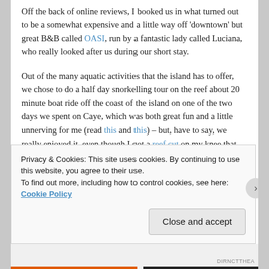Off the back of online reviews, I booked us in what turned out to be a somewhat expensive and a little way off 'downtown' but great B&B called OASI, run by a fantastic lady called Luciana, who really looked after us during our short stay.
Out of the many aquatic activities that the island has to offer, we chose to do a half day snorkelling tour on the reef about 20 minute boat ride off the coast of the island on one of the two days we spent on Caye, which was both great fun and a little unnerving for me (read this and this) – but, have to say, we really enjoyed it, even though I got a reef cut on my knee that it's proving rather tricky to heal. I am also pleased to say that all my effort at the gym
Privacy & Cookies: This site uses cookies. By continuing to use this website, you agree to their use.
To find out more, including how to control cookies, see here: Cookie Policy